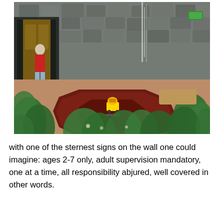[Figure (photo): Outdoor playground area with a large octagonal dark red/brown rubber safety surface in a courtyard. A yellow ride-on animal toy sits in the center of the octagonal platform. The courtyard is surrounded by a stone wall. Green shrubs and plants fill the foreground. A person in a red jacket stands near a doorway on the left side of the image.]
with one of the sternest signs on the wall one could imagine: ages 2-7 only, adult supervision mandatory, one at a time, all responsibility abjured, well covered in other words.